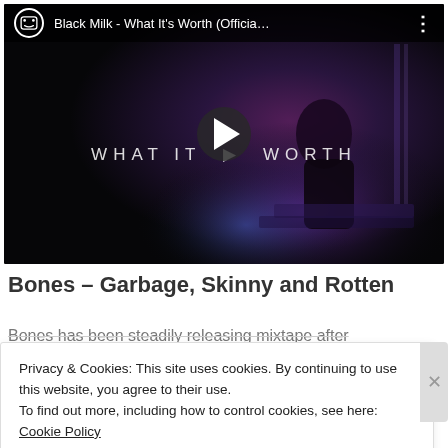[Figure (screenshot): YouTube video thumbnail showing 'Black Milk - What It's Worth (Officia...' with a dark moody scene, a person in a dimly lit room with purple/blue lighting, and a play button overlay. The video title bar shows the YouTube logo and video title.]
Bones – Garbage, Skinny and Rotten
Bones has been steadily releasing mixtape after
Privacy & Cookies: This site uses cookies. By continuing to use this website, you agree to their use.
To find out more, including how to control cookies, see here: Cookie Policy